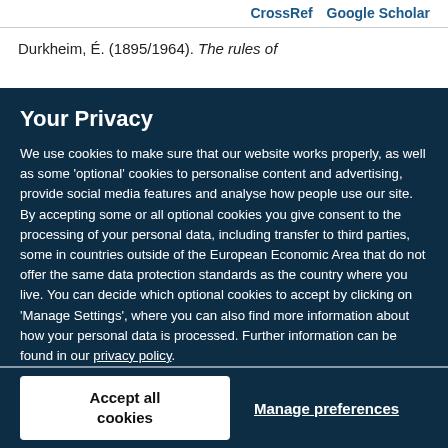CrossRef   Google Scholar
Durkheim, É. (1895/1964). The rules of
Your Privacy
We use cookies to make sure that our website works properly, as well as some 'optional' cookies to personalise content and advertising, provide social media features and analyse how people use our site. By accepting some or all optional cookies you give consent to the processing of your personal data, including transfer to third parties, some in countries outside of the European Economic Area that do not offer the same data protection standards as the country where you live. You can decide which optional cookies to accept by clicking on 'Manage Settings', where you can also find more information about how your personal data is processed. Further information can be found in our privacy policy.
Accept all cookies
Manage preferences